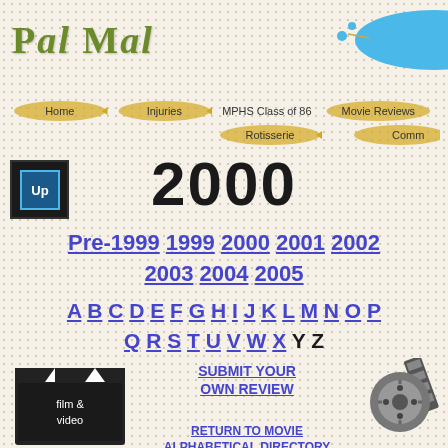Pal Mal
[Figure (illustration): Blue ellipse/oval navigation bar graphic with 'Mo' text visible, decorative dots]
Home | Injuries | MPHS Class of 86 | Movie Reviews | Rotisserie | Comm
[Figure (logo): Up arrow icon - small blue square icon with UP text]
2000
Pre-1999 1999 2000 2001 2002 2003 2004 2005
A B C D E F G H I J K L M N O P Q R S T U V W X Y Z
[Figure (illustration): Film clapperboard illustration with 'film & video' text]
SUBMIT YOUR OWN REVIEW
[Figure (illustration): Film reel illustration]
RETURN TO MOVIE ALPHABETICAL DIRECTORY